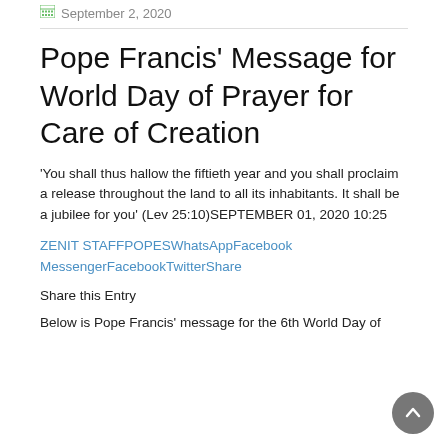September 2, 2020
Pope Francis' Message for World Day of Prayer for Care of Creation
'You shall thus hallow the fiftieth year and you shall proclaim a release throughout the land to all its inhabitants. It shall be a jubilee for you' (Lev 25:10)SEPTEMBER 01, 2020 10:25
ZENIT STAFFPOPESWhatsAppFacebook MessengerFacebookTwitterShare
Share this Entry
Below is Pope Francis' message for the 6th World Day of